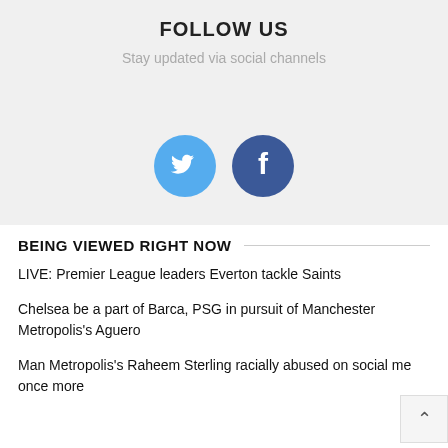FOLLOW US
Stay updated via social channels
[Figure (illustration): Twitter and Facebook social media icons (circles with bird and F logos)]
BEING VIEWED RIGHT NOW
LIVE: Premier League leaders Everton tackle Saints
Chelsea be a part of Barca, PSG in pursuit of Manchester Metropolis's Aguero
Man Metropolis's Raheem Sterling racially abused on social me once more